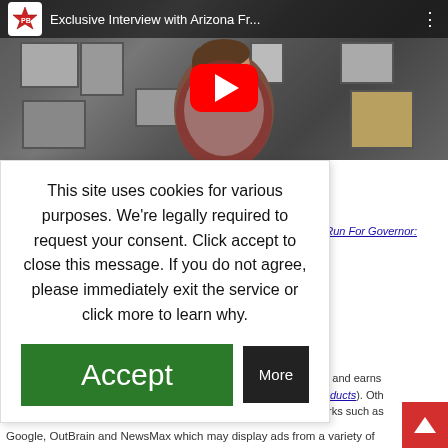[Figure (screenshot): YouTube video thumbnail showing 'Exclusive Interview with Arizona Fr...' with a red play button overlay. A woman appears in the center of the thumbnail against a wall of framed pictures.]
This site uses cookies for various purposes. We're legally required to request your consent. Click accept to close this message. If you do not agree, please immediately exit the service or click more to learn why.
Accept
More
on Run For Governor:
am and earns products). Oth works such as
Google, OutBrain and NewsMax which may display ads from a variety of